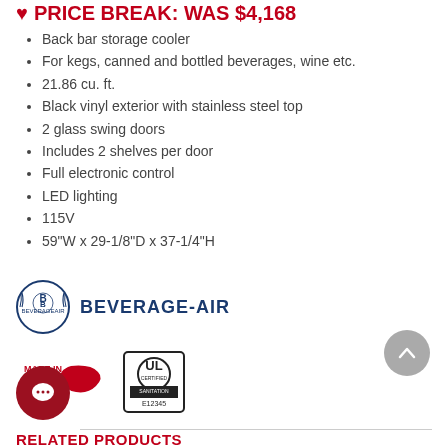PRICE BREAK: WAS $4,168
Back bar storage cooler
For kegs, canned and bottled beverages, wine etc.
21.86 cu. ft.
Black vinyl exterior with stainless steel top
2 glass swing doors
Includes 2 shelves per door
Full electronic control
LED lighting
115V
59"W x 29-1/8"D x 37-1/4"H
[Figure (logo): Beverage-Air logo with wreath and text BEVERAGE-AIR]
[Figure (logo): Made in USA red logo with US map outline]
[Figure (logo): UL Certified Sanitation badge E12345]